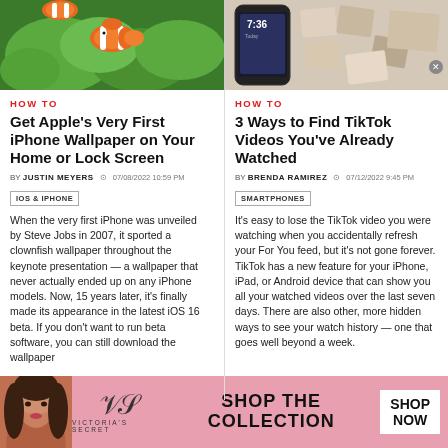[Figure (photo): Clownfish among green sea anemones - iPhone wallpaper photo]
[Figure (photo): Smartphone and photos on a table]
HOW TO
Get Apple's Very First iPhone Wallpaper on Your Home or Lock Screen
BY JUSTIN MEYERS  07/08/2022 10:59 PM
IOS & IPHONE
When the very first iPhone was unveiled by Steve Jobs in 2007, it sported a clownfish wallpaper throughout the keynote presentation — a wallpaper that never actually ended up on any iPhone models. Now, 15 years later, it's finally made its appearance in the latest iOS 16 beta. If you don't want to run beta software, you can still download the wallpaper
HOW TO
3 Ways to Find TikTok Videos You've Already Watched
BY BRENDA RAMIREZ  07/12/2022 9:45 PM
SMARTPHONES
It's easy to lose the TikTok video you were watching when you accidentally refresh your For You feed, but it's not gone forever. TikTok has a new feature for your iPhone, iPad, or Android device that can show you all your watched videos over the last seven days. There are also other, more hidden ways to see your watch history — one that goes well beyond a week.
[Figure (photo): Victoria's Secret advertisement banner with model, logo, SHOP THE COLLECTION text, and SHOP NOW button]